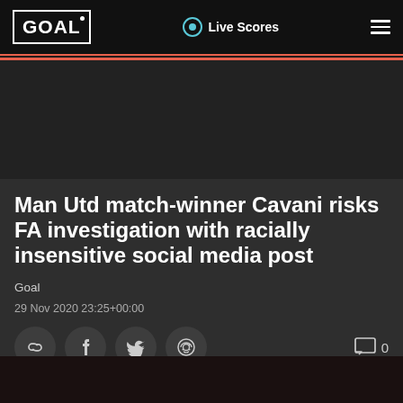GOAL — Live Scores
[Figure (photo): Dark photo area showing a sports/soccer player, partially visible at the bottom of the page]
Man Utd match-winner Cavani risks FA investigation with racially insensitive social media post
Goal
29 Nov 2020 23:25+00:00
Share icons: link, facebook, twitter, reddit | Comments: 0